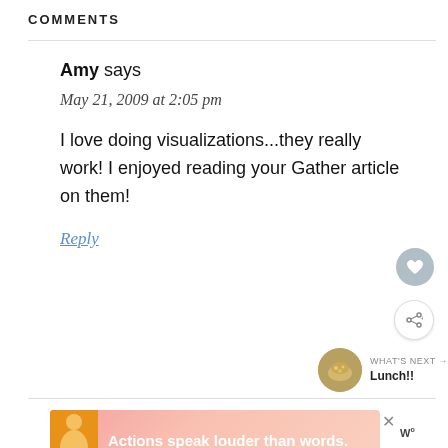COMMENTS
Amy says
May 21, 2009 at 2:05 pm
I love doing visualizations...they really work! I enjoyed reading your Gather article on them!
Reply
[Figure (infographic): WHAT'S NEXT arrow label with circular thumbnail image of food and text 'Lunch!!']
[Figure (infographic): Advertisement banner: person in yellow shirt, text 'Actions speak louder than words.' with close button and logo]